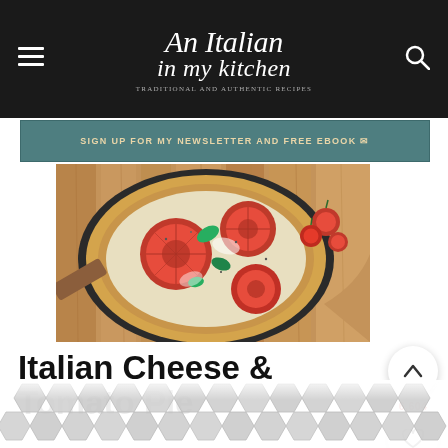An Italian in my kitchen
SIGN UP FOR MY NEWSLETTER AND FREE EBOOK ✉
[Figure (photo): A tomato and cheese pie/quiche with sliced fresh tomatoes and basil on a dark tart pan, on a wooden surface with cherry tomatoes around it]
Italian Cheese & Tomato Pie
Rosemary Molloy
Easy Italian Fresh Tomato Cheese Pie, a deli... pie